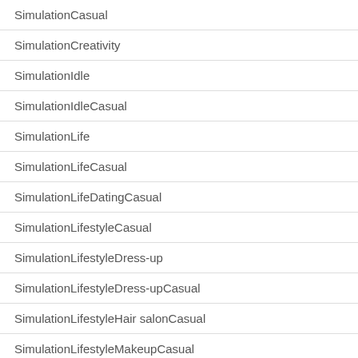| SimulationCasual |
| SimulationCreativity |
| SimulationIdle |
| SimulationIdleCasual |
| SimulationLife |
| SimulationLifeCasual |
| SimulationLifeDatingCasual |
| SimulationLifestyleCasual |
| SimulationLifestyleDress-up |
| SimulationLifestyleDress-upCasual |
| SimulationLifestyleHair salonCasual |
| SimulationLifestyleMakeupCasual |
| SimulationManagementCasual |